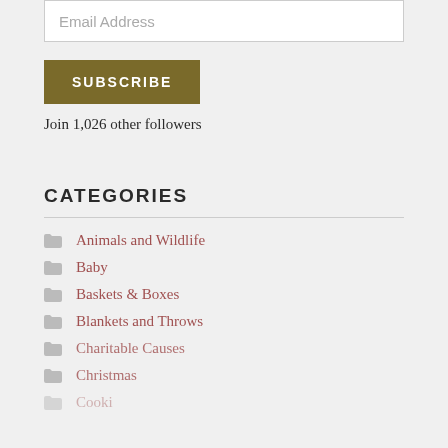Email Address
SUBSCRIBE
Join 1,026 other followers
CATEGORIES
Animals and Wildlife
Baby
Baskets & Boxes
Blankets and Throws
Charitable Causes
Christmas
Cookies